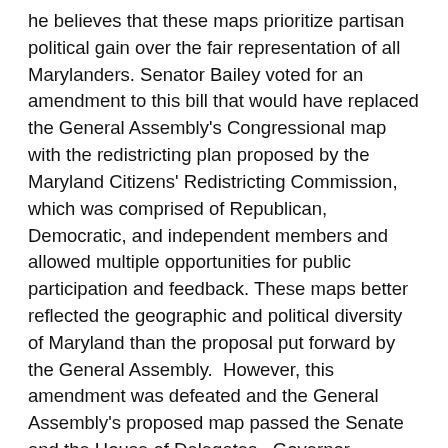he believes that these maps prioritize partisan political gain over the fair representation of all Marylanders. Senator Bailey voted for an amendment to this bill that would have replaced the General Assembly's Congressional map with the redistricting plan proposed by the Maryland Citizens' Redistricting Commission, which was comprised of Republican, Democratic, and independent members and allowed multiple opportunities for public participation and feedback. These maps better reflected the geographic and political diversity of Maryland than the proposal put forward by the General Assembly.  However, this amendment was defeated and the General Assembly's proposed map passed the Senate and the House of Delegates.  Governor Hogan's veto of this plan was also overridden.
This legislation only relates to new Congressional districts.  In this final plan, Calvert and St. Mary's